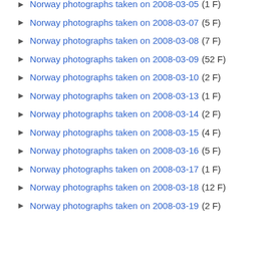Norway photographs taken on 2008-03-05 (1 F)
Norway photographs taken on 2008-03-07 (5 F)
Norway photographs taken on 2008-03-08 (7 F)
Norway photographs taken on 2008-03-09 (52 F)
Norway photographs taken on 2008-03-10 (2 F)
Norway photographs taken on 2008-03-13 (1 F)
Norway photographs taken on 2008-03-14 (2 F)
Norway photographs taken on 2008-03-15 (4 F)
Norway photographs taken on 2008-03-16 (5 F)
Norway photographs taken on 2008-03-17 (1 F)
Norway photographs taken on 2008-03-18 (12 F)
Norway photographs taken on 2008-03-19 (2 F)